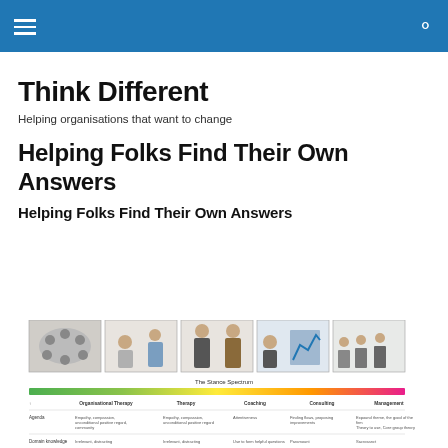Think Different [header bar with hamburger menu and search icon]
Think Different
Helping organisations that want to change
Helping Folks Find Their Own Answers
Helping Folks Find Their Own Answers
[Figure (infographic): The Stance Spectrum: a row of 5 photos showing different consulting/therapy stances (group circle, one-on-one therapy, coaching, consulting with chart, management training), with a colored gradient bar below labeled Organisational Therapy, Therapy, Coaching, Consulting, Management, and a table with rows for Agenda and Domain knowledge.]